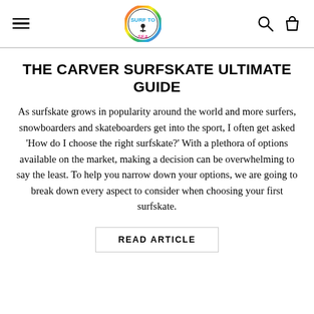Navigation bar with hamburger menu, logo, search and cart icons
THE CARVER SURFSKATE ULTIMATE GUIDE
As surfskate grows in popularity around the world and more surfers, snowboarders and skateboarders get into the sport, I often get asked ‘How do I choose the right surfskate?’ With a plethora of options available on the market, making a decision can be overwhelming to say the least. To help you narrow down your options, we are going to break down every aspect to consider when choosing your first surfskate.
READ ARTICLE